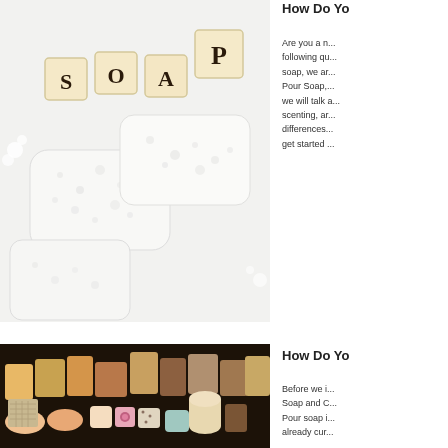[Figure (photo): Photo of SOAP scrabble letter tiles and white soap bars on a white background]
How Do Yo...
Are you a n... following qu... soap, we ar... Pour Soap,... we will talk a... scenting, ar... differences... get started ...
[Figure (photo): Photo of various colorful handmade soap bars arranged together]
How Do Yo...
Before we i... Soap and C... Pour soap i... already cur...